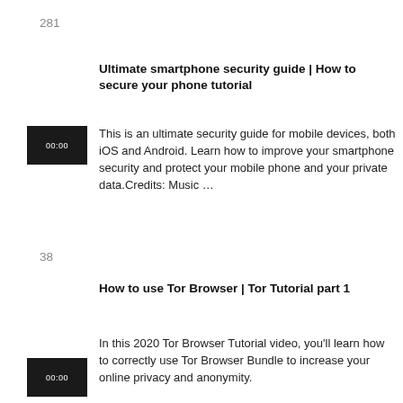281
Ultimate smartphone security guide | How to secure your phone tutorial
This is an ultimate security guide for mobile devices, both iOS and Android. Learn how to improve your smartphone security and protect your mobile phone and your private data.Credits: Music …
38
How to use Tor Browser | Tor Tutorial part 1
In this 2020 Tor Browser Tutorial video, you'll learn how to correctly use Tor Browser Bundle to increase your online privacy and anonymity.